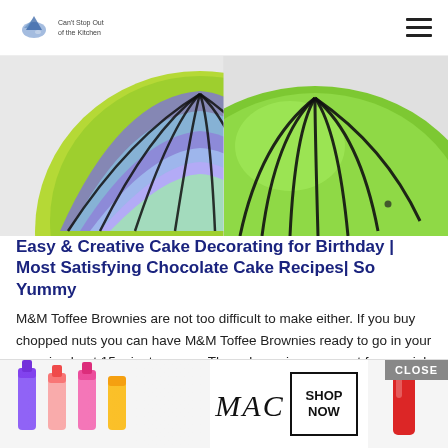Can't Stop But of the Kitchen
[Figure (photo): Two decorated cakes side by side — left one has purple and green layered icing with dark swirled lines, right one is bright green with dark curved lines on a dome shape]
Easy & Creative Cake Decorating for Birthday | Most Satisfying Chocolate Cake Recipes| So Yummy
M&M Toffee Brownies are not too difficult to make either. If you buy chopped nuts you can have M&M Toffee Brownies ready to go in your oven in about 15 minutes or so. These brownies are great for special occasions or holiday baking.
They're also wonderful to make just because beca... h won't...
[Figure (screenshot): MAC cosmetics advertisement banner showing lipsticks in purple, peach, pink colors on left, MAC logo in center, and SHOP NOW button with red lipstick on right. Close button visible top right.]